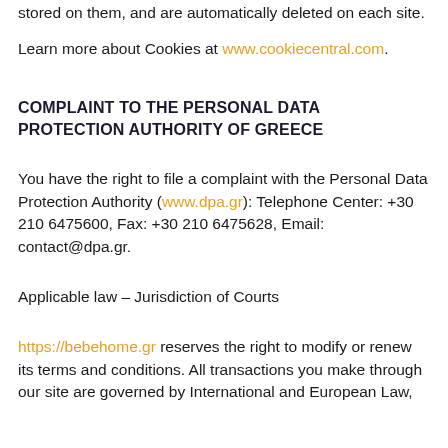stored on them, and are automatically deleted on each site.
Learn more about Cookies at www.cookiecentral.com.
COMPLAINT TO THE PERSONAL DATA PROTECTION AUTHORITY OF GREECE
You have the right to file a complaint with the Personal Data Protection Authority (www.dpa.gr): Telephone Center: +30 210 6475600, Fax: +30 210 6475628, Email: contact@dpa.gr.
Applicable law – Jurisdiction of Courts
https://bebehome.gr reserves the right to modify or renew its terms and conditions. All transactions you make through our site are governed by International and European Law,